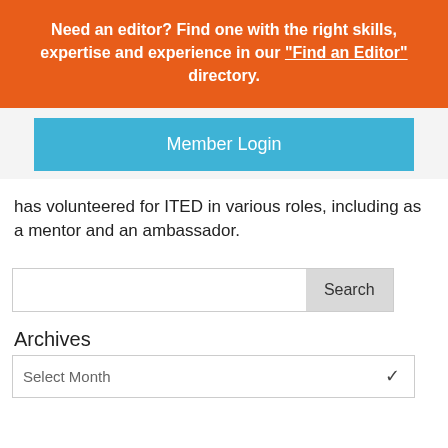Need an editor? Find one with the right skills, expertise and experience in our “Find an Editor” directory.
Member Login
has volunteered for ITED in various roles, including as a mentor and an ambassador.
Search
Archives
Select Month